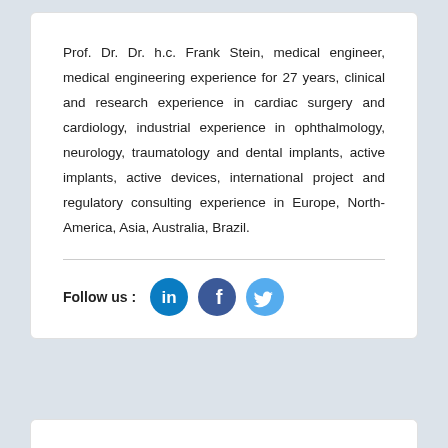Prof. Dr. Dr. h.c. Frank Stein, medical engineer, medical engineering experience for 27 years, clinical and research experience in cardiac surgery and cardiology, industrial experience in ophthalmology, neurology, traumatology and dental implants, active implants, active devices, international project and regulatory consulting experience in Europe, North-America, Asia, Australia, Brazil.
[Figure (infographic): Follow us row with LinkedIn, Facebook, and Twitter circular icon buttons]